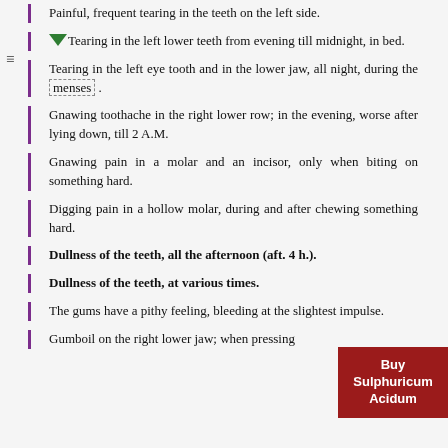Painful, frequent tearing in the teeth on the left side.
Tearing in the left lower teeth from evening till midnight, in bed.
Tearing in the left eye tooth and in the lower jaw, all night, during the menses.
Gnawing toothache in the right lower row; in the evening, worse after lying down, till 2 A.M.
Gnawing pain in a molar and an incisor, only when biting on something hard.
Digging pain in a hollow molar, during and after chewing something hard.
Dullness of the teeth, all the afternoon (aft. 4 h.).
Dullness of the teeth, at various times.
The gums have a pithy feeling, bleeding at the slightest impulse.
Gumboil on the right lower jaw; when pressing, pus comes out.